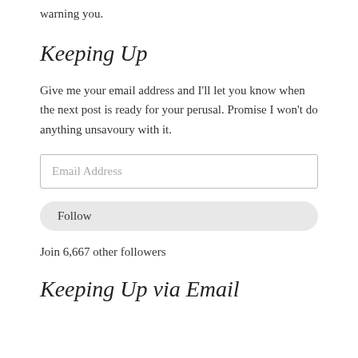warning you.
Keeping Up
Give me your email address and I'll let you know when the next post is ready for your perusal. Promise I won't do anything unsavoury with it.
Email Address
Follow
Join 6,667 other followers
Keeping Up via Email